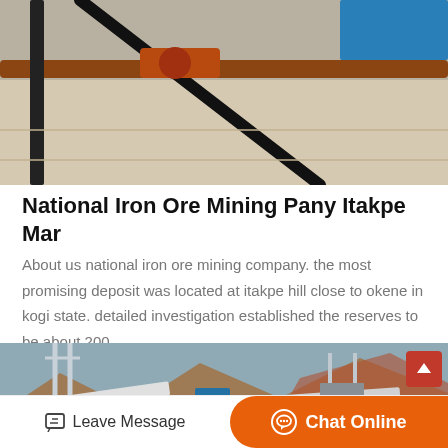[Figure (photo): Industrial mining equipment with pipes and machinery on concrete surface, outdoor setting with blue equipment in background]
National Iron Ore Mining Pany Itakpe Mar
About us national iron ore mining company. the most promising deposit was located at itakpe hill close to okene in kogi state. detailed investigation established the reserves to be about 200…
Get Price  >
[Figure (photo): Aerial view of a mining facility in a mountainous landscape with conveyor belts, towers, and industrial structures]
Leave Message
Chat Online